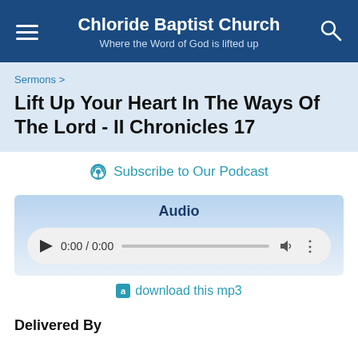Chloride Baptist Church — Where the Word of God is lifted up
Sermons >
Lift Up Your Heart In The Ways Of The Lord - II Chronicles 17
Subscribe to Our Podcast
Audio
[Figure (other): Audio player showing 0:00 / 0:00 with play button, progress bar, volume icon, and more options icon]
download this mp3
Delivered By